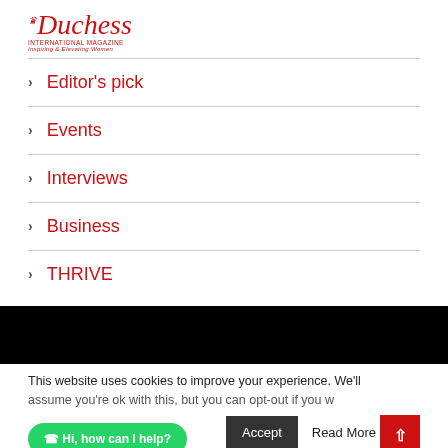Duchess International Magazine - Inspiring & Elevating Women
Editor's pick
Events
Interviews
Business
THRIVE
This website uses cookies to improve your experience. We'll assume you're ok with this, but you can opt-out if you w...
Hi, how can I help?
Accept
Read More